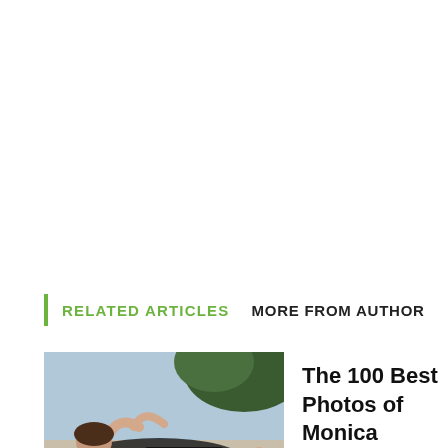RELATED ARTICLES   MORE FROM AUTHOR
[Figure (photo): Thumbnail photo of Monica Bellucci reclining by a pool, with a 'Gallery' label overlay at the bottom left.]
The 100 Best Photos of Monica Bellucci